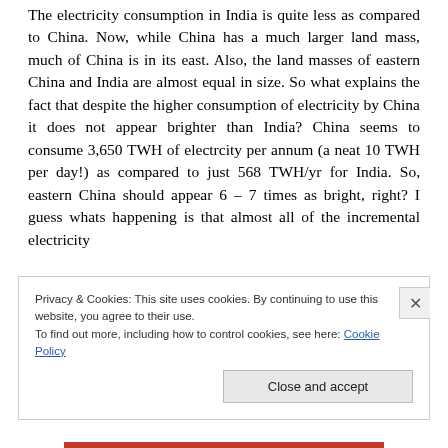The electricity consumption in India is quite less as compared to China. Now, while China has a much larger land mass, much of China is in its east. Also, the land masses of eastern China and India are almost equal in size. So what explains the fact that despite the higher consumption of electricity by China it does not appear brighter than India? China seems to consume 3,650 TWH of electrcity per annum (a neat 10 TWH per day!) as compared to just 568 TWH/yr for India. So, eastern China should appear 6 – 7 times as bright, right? I guess whats happening is that almost all of the incremental electricity
Privacy & Cookies: This site uses cookies. By continuing to use this website, you agree to their use.
To find out more, including how to control cookies, see here: Cookie Policy